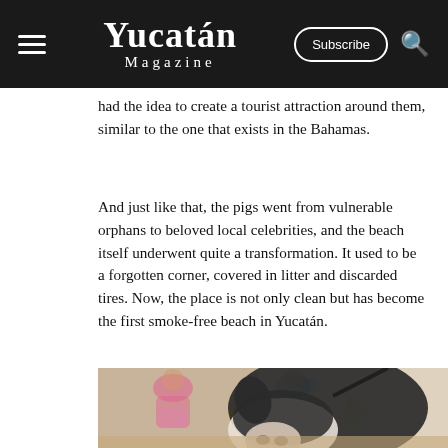Yucatán Magazine
had the idea to create a tourist attraction around them, similar to the one that exists in the Bahamas.
And just like that, the pigs went from vulnerable orphans to beloved local celebrities, and the beach itself underwent quite a transformation. It used to be a forgotten corner, covered in litter and discarded tires. Now, the place is not only clean but has become the first smoke-free beach in Yucatán.
[Figure (photo): Close-up of a black and white pig with its snout pointed toward the camera, standing on sandy ground. In the blurred background, several people including children can be seen standing near a white wall.]